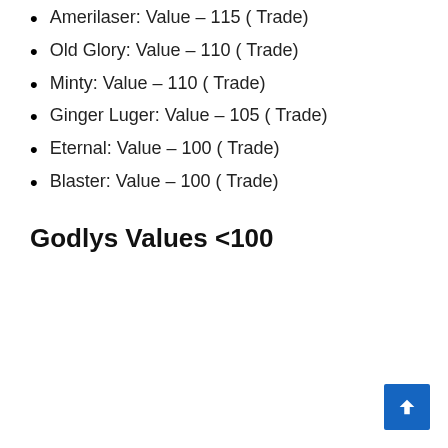Amerilaser: Value – 115 ( Trade)
Old Glory: Value – 110 ( Trade)
Minty: Value – 110 ( Trade)
Ginger Luger: Value – 105 ( Trade)
Eternal: Value – 100 ( Trade)
Blaster: Value – 100 ( Trade)
Godlys Values <100